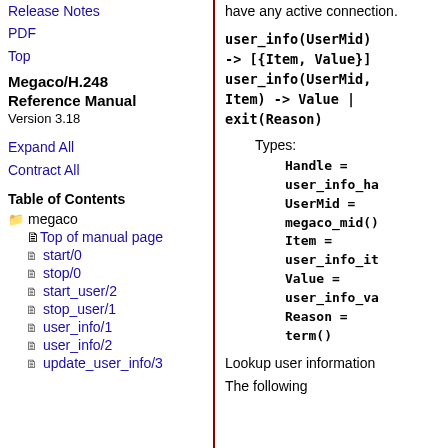Release Notes
PDF
Top
Megaco/H.248 Reference Manual
Version 3.18
Expand All
Contract All
Table of Contents
megaco
Top of manual page
start/0
stop/0
start_user/2
stop_user/1
user_info/1
user_info/2
update_user_info/3
have any active connection.
Types:
Lookup user information
The following